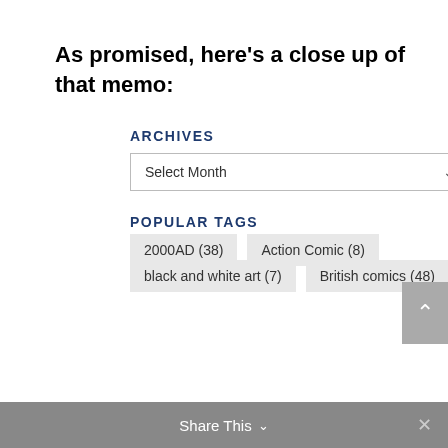As promised, here’s a close up of that memo:
ARCHIVES
Select Month
POPULAR TAGS
2000AD (38)
Action Comic (8)
black and white art (7)
British comics (48)
Share This